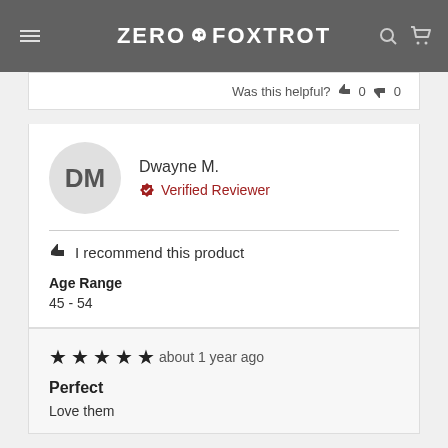ZERO FOXTROT
Was this helpful? 0 0
DM
Dwayne M.
Verified Reviewer
I recommend this product
Age Range
45 - 54
★★★★★ about 1 year ago
Perfect
Love them